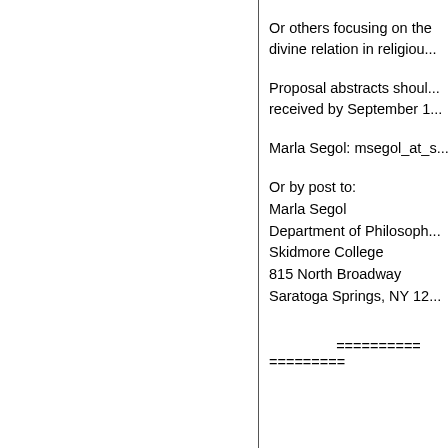Or others focusing on the divine relation in religiou...
Proposal abstracts shoul... received by September 1...
Marla Segol: msegol_at_s...
Or by post to:
Marla Segol
Department of Philosoph...
Skidmore College
815 North Broadway
Saratoga Springs, NY 12...
========== =========